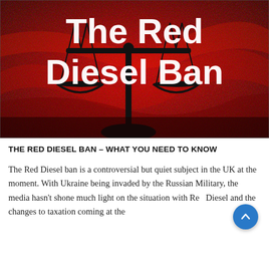[Figure (illustration): Dark red dramatic background with a silhouette of balance/justice scales in black. White bold text overlay reads 'The Red Diesel Ban'.]
THE RED DIESEL BAN – WHAT YOU NEED TO KNOW
The Red Diesel ban is a controversial but quiet subject in the UK at the moment. With Ukraine being invaded by the Russian Military, the media hasn't shone much light on the situation with Red Diesel and the changes to taxation coming at the